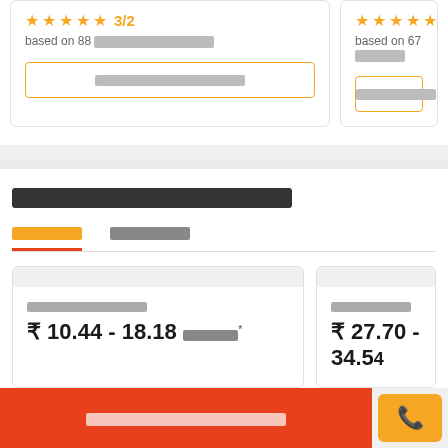based on 88 [text in Telugu script]
based on 67 [text in Telugu script]
[Button: Telugu script text]
[Button: Telugu script text]
[Telugu script: section title]
[Tab 1 active] [Tab 2]
[Price card label Telugu] ₹ 10.44 - 18.18 [unit]*
[Price card label Telugu] ₹ 27.70 - 34.54
[Footer button Telugu]